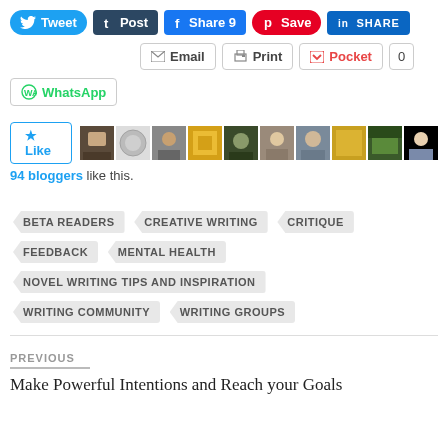[Figure (screenshot): Social sharing buttons row: Tweet, Post, Share 9, Save, SHARE]
[Figure (screenshot): Secondary share buttons: Email, Print, Pocket 0]
[Figure (screenshot): WhatsApp share button]
[Figure (screenshot): Like button with 10 blogger avatar thumbnails]
94 bloggers like this.
BETA READERS
CREATIVE WRITING
CRITIQUE
FEEDBACK
MENTAL HEALTH
NOVEL WRITING TIPS AND INSPIRATION
WRITING COMMUNITY
WRITING GROUPS
PREVIOUS
Make Powerful Intentions and Reach your Goals